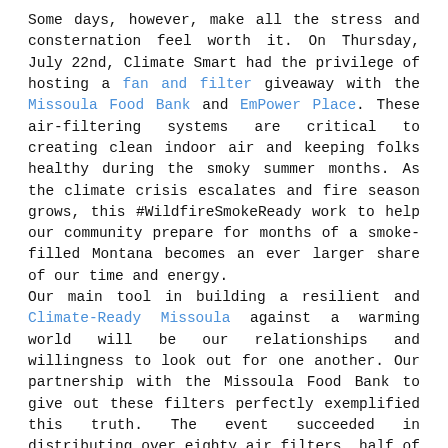Some days, however, make all the stress and consternation feel worth it. On Thursday, July 22nd, Climate Smart had the privilege of hosting a fan and filter giveaway with the Missoula Food Bank and EmPower Place. These air-filtering systems are critical to creating clean indoor air and keeping folks healthy during the smoky summer months. As the climate crisis escalates and fire season grows, this #WildfireSmokeReady work to help our community prepare for months of a smoke-filled Montana becomes an ever larger share of our time and energy.
Our main tool in building a resilient and Climate-Ready Missoula against a warming world will be our relationships and willingness to look out for one another. Our partnership with the Missoula Food Bank to give out these filters perfectly exemplified this truth. The event succeeded in distributing over eighty air filters, half of which went to seniors through the Fresh Food delivery program, and the other half to families visiting EmPower place--a hands on learning center for kids. Missoula Food Bank staff and volunteers and the Climate Smart team (including our interns-extraordinaire Sydney and Isa) rallied together to assemble and give out these fans and filters to food bank users